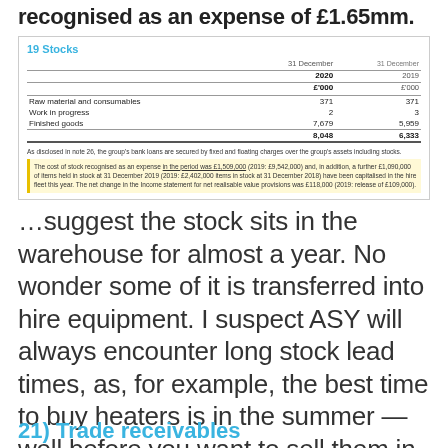recognised as an expense of £1.65mm.
|  | 31 December 2020 £'000 | 31 December 2019 £'000 |
| --- | --- | --- |
| Raw material and consumables | 371 | 371 |
| Work in progress | 2 | 3 |
| Finished goods | 7,679 | 5,959 |
|  | 8,048 | 6,333 |
As disclosed in note 26, the group's bank loans are secured by fixed and floating charges over the group's assets including stocks.
The cost of stock recognised as an expense in the period was £1,509,000 (2019: £9,542,000) and, in addition, a further £1,090,000 of items held in stock at 31 December 2019 (2019: £2,402,000 items in stock at 31 December 2018) have been capitalised in the hire fleet this year. The net change in the Income statement for net realisable value provisions was £118,000 (2019: release of £109,000).
…suggest the stock sits in the warehouse for almost a year. No wonder some of it is transferred into hire equipment. I suspect ASY will always encounter long stock lead times, as, for example, the best time to buy heaters is in the summer — well before you want to sell them in the winter.
21) Trade receivables